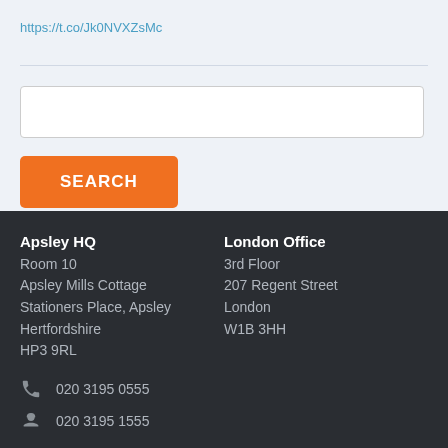https://t.co/Jk0NVXZsMc
[Figure (other): Search input box (empty)]
SEARCH
Apsley HQ
Room 10
Apsley Mills Cottage
Stationers Place, Apsley
Hertfordshire
HP3 9RL
London Office
3rd Floor
207 Regent Street
London
W1B 3HH
020 3195 0555
020 3195 1555